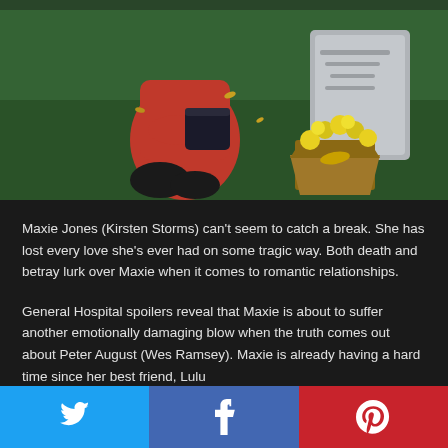[Figure (photo): A person wearing a red coat sitting on green grass next to a gravestone with yellow flowers wrapped in brown paper]
Maxie Jones (Kirsten Storms) can't seem to catch a break. She has lost every love she's ever had on some tragic way. Both death and betray lurk over Maxie when it comes to romantic relationships.
General Hospital spoilers reveal that Maxie is about to suffer another emotionally damaging blow when the truth comes out about Peter August (Wes Ramsey). Maxie is already having a hard time since her best friend, Lulu